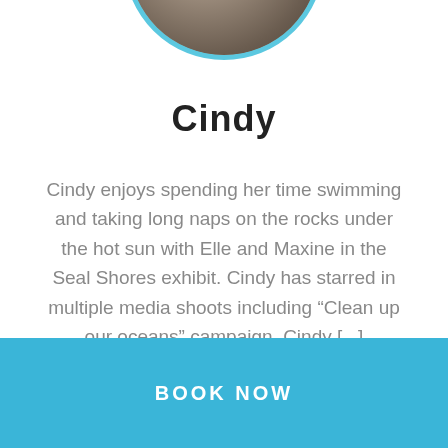[Figure (photo): Circular profile photo of a seal or animal, with light blue circular border, partially cropped at the top of the page]
Cindy
Cindy enjoys spending her time swimming and taking long naps on the rocks under the hot sun with Elle and Maxine in the Seal Shores exhibit. Cindy has starred in multiple media shoots including “Clean up our oceans” campaign. Cindy [...]
BOOK NOW